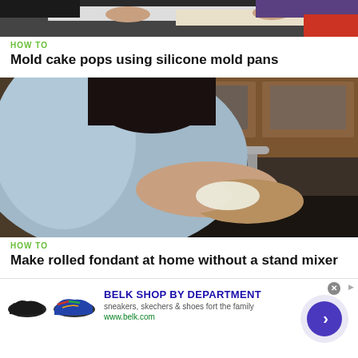[Figure (photo): Video thumbnail showing hands working with food on a cutting board in a kitchen setting with dark countertop]
HOW TO
Mold cake pops using silicone mold pans
[Figure (photo): Video thumbnail showing a person in a light blue shirt working with fondant dough in a kitchen, kneading with hands near a dark countertop with wood cabinets]
HOW TO
Make rolled fondant at home without a stand mixer
[Figure (photo): Advertisement banner for Belk showing shoes - sneakers and skechers, with text BELK SHOP BY DEPARTMENT, sneakers, skechers & shoes fort the family, www.belk.com, and a blue arrow button]